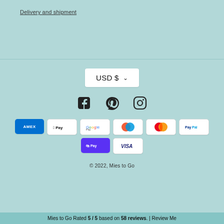Delivery and shipment
[Figure (other): Currency selector button showing USD $ with dropdown chevron]
[Figure (other): Social media icons: Facebook, Pinterest, Instagram]
[Figure (other): Payment method icons: American Express, Apple Pay, Google Pay, Maestro, Mastercard, PayPal, Shop Pay, Visa]
© 2022, Mies to Go
Mies to Go Rated 5 / 5 based on 58 reviews. | Review Me